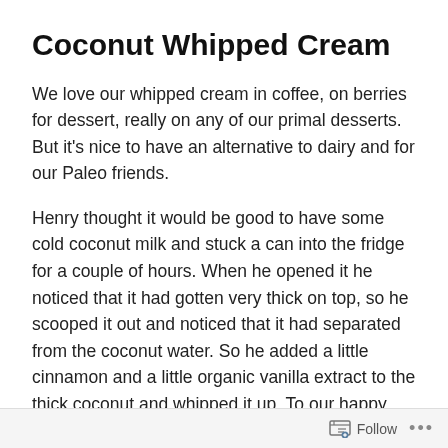Coconut Whipped Cream
We love our whipped cream in coffee, on berries for dessert, really on any of our primal desserts.  But it’s nice to have an alternative to dairy and for our Paleo friends.
Henry thought it would be good to have some cold coconut milk and stuck a can into the fridge for a couple of hours. When he opened it he noticed that it had gotten very thick on top, so he scooped it out and noticed that it had separated from the coconut water. So he added a little cinnamon and a little organic vanilla extract to the thick coconut and whipped it up. To our happy surprise it got thick and creamy immediately, and Oh Wow!!! sooooo good.
Follow ...